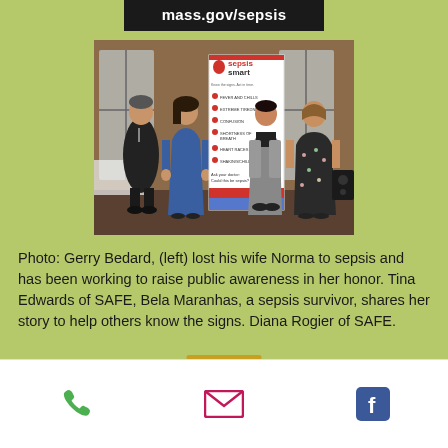mass.gov/sepsis
[Figure (photo): Four people standing in front of a 'Sepsis Smart' awareness banner in what appears to be a formal indoor setting. From left: a man in a dark suit, a woman in a blue dress, a woman in a grey suit, and a woman in a floral dress.]
Photo: Gerry Bedard, (left) lost his wife Norma to sepsis and has been working to raise public awareness in her honor. Tina Edwards of SAFE, Bela Maranhas, a sepsis survivor, shares her story to help others know the signs. Diana Rogier of SAFE.
Phone | Email | Facebook